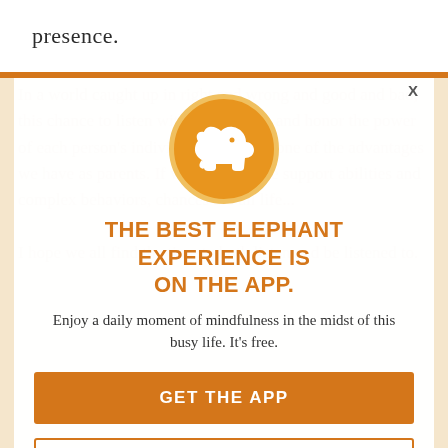presence.
[Figure (logo): Elephant app icon: white elephant silhouette on orange circle with gold border]
THE BEST ELEPHANT EXPERIENCE IS ON THE APP.
Enjoy a daily moment of mindfulness in the midst of this busy life. It's free.
GET THE APP
OPEN IN APP